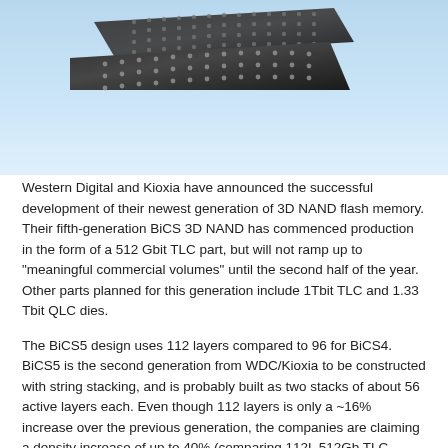[Figure (photo): Two black 3D NAND flash memory chips (stacked/overlapping) on a light blue gradient background, showing gold contact pads on one chip]
Western Digital and Kioxia have announced the successful development of their newest generation of 3D NAND flash memory. Their fifth-generation BiCS 3D NAND has commenced production in the form of a 512 Gbit TLC part, but will not ramp up to "meaningful commercial volumes" until the second half of the year. Other parts planned for this generation include 1Tbit TLC and 1.33 Tbit QLC dies.
The BiCS5 design uses 112 layers compared to 96 for BiCS4. BiCS5 is the second generation from WDC/Kioxia to be constructed with string stacking, and is probably built as two stacks of about 56 active layers each. Even though 112 layers is only a ~16% increase over the previous generation, the companies are claiming a density increase of up to 40% (comparing 112L 512Gb TLC against 96L